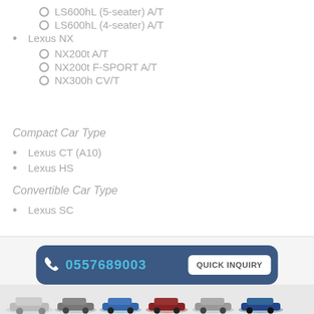LS600hL (5-seater) A/T
LS600hL (4-seater) A/T
Lexus NX
NX200t A/T
NX200t F-SPORT A/T
NX300h CV/T
Compact Car Type
Lexus CT (A10)
Lexus HS
Convertible Car Type
Lexus SC
[Figure (infographic): Bottom bar with phone number 0557689003 and Quick Inquiry button, with row of car images below]